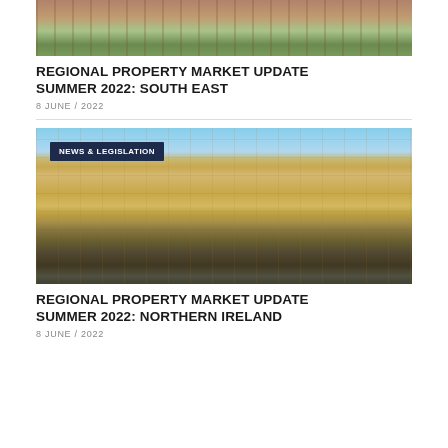[Figure (photo): Partial top view of a coastal or waterfront property showing a wooden deck with stairs and green lawn, cropped at top of page.]
REGIONAL PROPERTY MARKET UPDATE SUMMER 2022: SOUTH EAST
8 JUNE / 2022
[Figure (photo): Photograph of a large classical stone mansion building with symmetrical facade, multiple sash windows, grand entrance steps, and surrounding trees. Badge overlay reads NEWS & LEGISLATION.]
REGIONAL PROPERTY MARKET UPDATE SUMMER 2022: NORTHERN IRELAND
8 JUNE / 2022